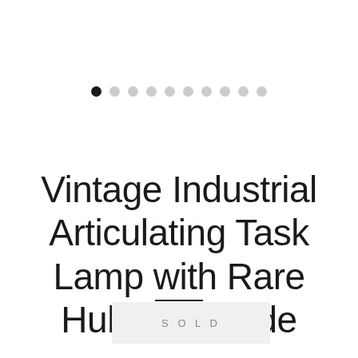[Figure (other): Carousel pagination dots — one filled black dot (active) followed by nine light grey dots]
Vintage Industrial Articulating Task Lamp with Rare Hubbell Shade
SOLD